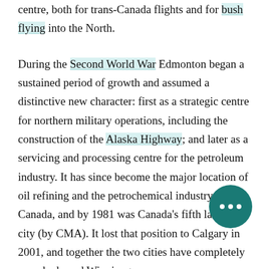Edmonton's new role as an air transport centre, both for trans-Canada flights and for bush flying into the North.
During the Second World War Edmonton began a sustained period of growth and assumed a distinctive new character: first as a strategic centre for northern military operations, including the construction of the Alaska Highway; and later as a servicing and processing centre for the petroleum industry. It has since become the major location of oil refining and the petrochemical industry in Canada, and by 1981 was Canada's fifth largest city (by CMA). It lost that position to Calgary in 2001, and together the two cities have completely overshadowed Winnipeg...